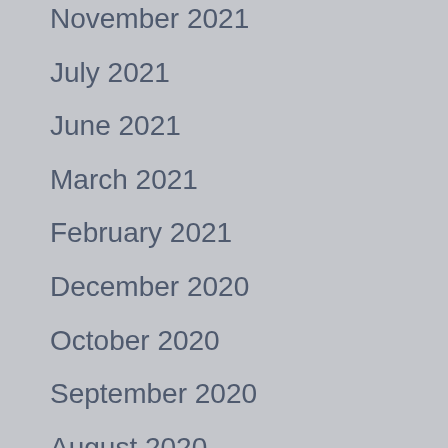November 2021
July 2021
June 2021
March 2021
February 2021
December 2020
October 2020
September 2020
August 2020
July 2020
June 2020